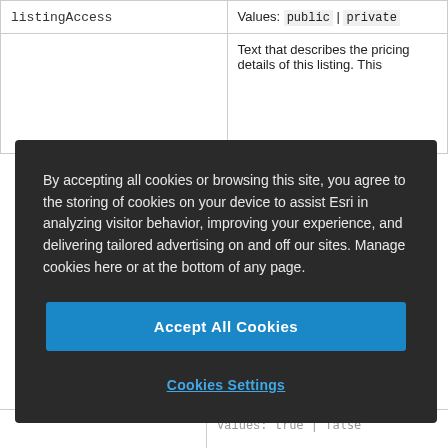| listingAccess | Values: public | private |
|  | Text that describes the pricing details of this listing. This ... |
|  | Values: true | false |
By accepting all cookies or browsing this site, you agree to the storing of cookies on your device to assist Esri in analyzing visitor behavior, improving your experience, and delivering tailored advertising on and off our sites. Manage cookies here or at the bottom of any page.
Accept All Cookies
Cookies Settings